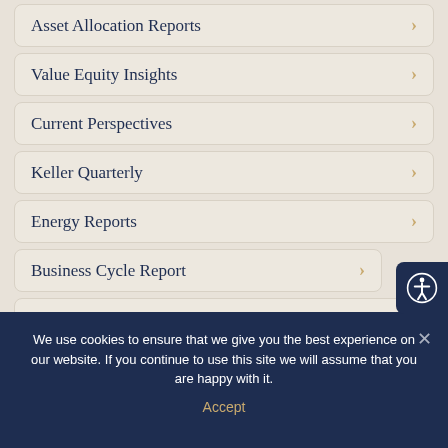Asset Allocation Reports
Value Equity Insights
Current Perspectives
Keller Quarterly
Energy Reports
Business Cycle Report
Podcasts
Reading List
We use cookies to ensure that we give you the best experience on our website. If you continue to use this site we will assume that you are happy with it.
Accept